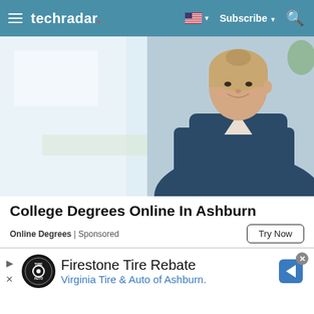techradar. | Subscribe
[Figure (photo): A smiling female nurse or healthcare professional in blue scrubs in a clinical/hospital setting with white/light background]
College Degrees Online In Ashburn
Online Degrees | Sponsored
Try Now
Firestone Tire Rebate
Virginia Tire & Auto of Ashburn.